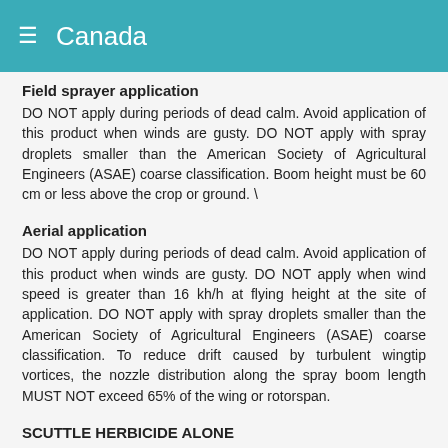Canada
Field sprayer application
DO NOT apply during periods of dead calm. Avoid application of this product when winds are gusty. DO NOT apply with spray droplets smaller than the American Society of Agricultural Engineers (ASAE) coarse classification. Boom height must be 60 cm or less above the crop or ground. \
Aerial application
DO NOT apply during periods of dead calm. Avoid application of this product when winds are gusty. DO NOT apply when wind speed is greater than 16 kh/h at flying height at the site of application. DO NOT apply with spray droplets smaller than the American Society of Agricultural Engineers (ASAE) coarse classification. To reduce drift caused by turbulent wingtip vortices, the nozzle distribution along the spray boom length MUST NOT exceed 65% of the wing or rotorspan.
SCUTTLE HERBICIDE ALONE
Apply Scuttle Herbicide in a uniform spray with ground or